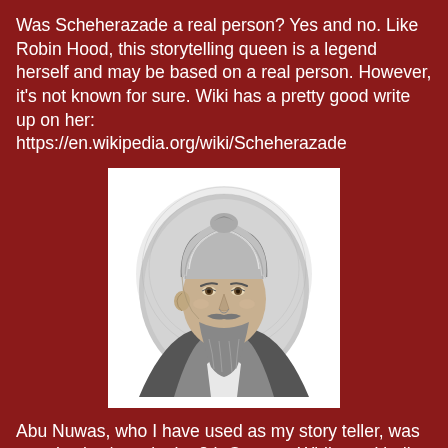Was Scheherazade a real person? Yes and no. Like Robin Hood, this storytelling queen is a legend herself and may be based on a real person. However, it's not known for sure. Wiki has a pretty good write up on her: https://en.wikipedia.org/wiki/Scheherazade
[Figure (illustration): Black and white portrait illustration of Abu Nuwas, a bearded man wearing a turban, rendered in an engraving style.]
Abu Nuwas, who I have used as my story teller, was a real writer/poet in the 8th Century. While my kindly story teller is a poor man who earns a meager living with his tales, the real Abu Nuwas was quite well off and considered to be Persia's (Iran's) most famous poet. His reputation wasn't sterling, and